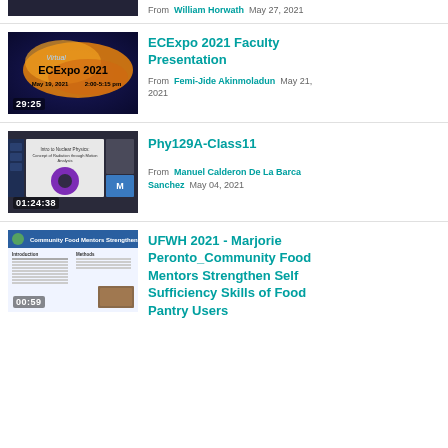[Figure (screenshot): Partially visible video thumbnail at top]
From William Horwath May 27, 2021
[Figure (screenshot): ECExpo 2021 video thumbnail showing 'Virtual ECExpo 2021 May 19, 2021 2:00-5:15 pm' with duration 29:25]
ECExpo 2021 Faculty Presentation
From Femi-Jide Akinmoladun May 21, 2021
[Figure (screenshot): Phy129A-Class11 video thumbnail showing a physics lecture slide with purple donut shape, duration 01:24:38]
Phy129A-Class11
From Manuel Calderon De La Barca Sanchez May 04, 2021
[Figure (screenshot): UFWH 2021 video thumbnail showing Community Food Mentors Strengthen slide, duration 00:59]
UFWH 2021 - Marjorie Peronto_Community Food Mentors Strengthen Self Sufficiency Skills of Food Pantry Users